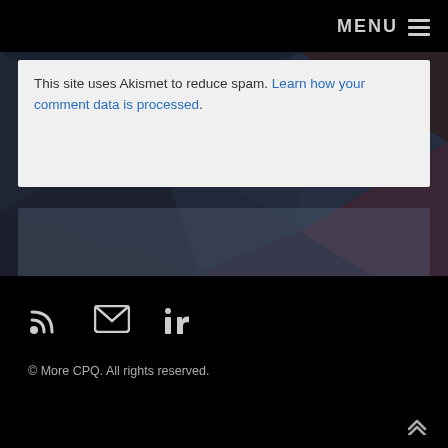MENU ≡
This site uses Akismet to reduce spam. Learn how your comment data is processed.
[Figure (illustration): Semi-transparent overlay box on a dark geometric polygon background]
© More CPQ. All rights reserved.